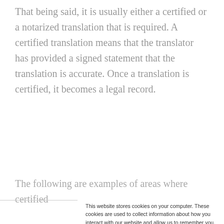That being said, it is usually either a certified or a notarized translation that is required. A certified translation means that the translator has provided a signed statement that the translation is accurate. Once a translation is certified, it becomes a legal record.
The following are examples of areas where certified
This website stores cookies on your computer. These cookies are used to collect information about how you interact with our website and allow us to remember you. We use this information in order to improve and customize your browsing experience and for analytics and metrics about our visitors both on this website and other media. To find out more about the cookies we use, see our Privacy Policy
If you decline, your information won't be tracked when you visit this website. A single cookie will be used in your browser to remember your preference not to be tracked.